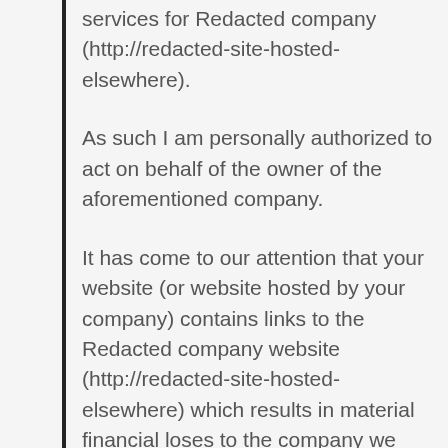services for Redacted company (http://redacted-site-hosted-elsewhere).
As such I am personally authorized to act on behalf of the owner of the aforementioned company.
It has come to our attention that your website (or website hosted by your company) contains links to the Redacted company website (http://redacted-site-hosted-elsewhere) which results in material financial loses to the company we represent.
This material financial loss is due to search